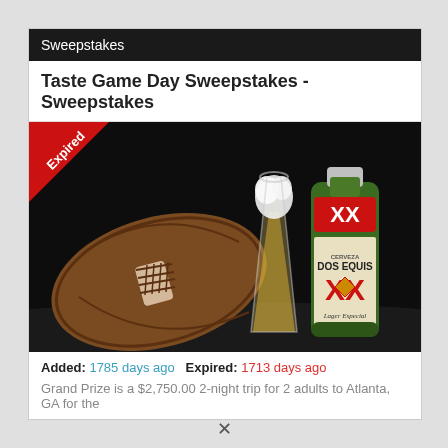Sweepstakes
Taste Game Day Sweepstakes - Sweepstakes
[Figure (photo): Dark background promotional image showing a football, a tall glass of beer, and a Dos Equis XX Lager Especial bottle. An 'Expired' red ribbon banner appears in the top-left corner.]
Added: 1785 days ago  Expired: 1713 days ago
Grand Prize is a $2,750.00 2-night trip for 2 adults to Atlanta, GA for the